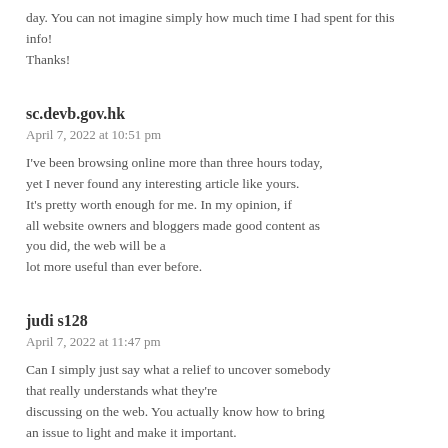day. You can not imagine simply how much time I had spent for this info!
Thanks!
sc.devb.gov.hk
April 7, 2022 at 10:51 pm
I've been browsing online more than three hours today, yet I never found any interesting article like yours. It's pretty worth enough for me. In my opinion, if all website owners and bloggers made good content as you did, the web will be a lot more useful than ever before.
judi s128
April 7, 2022 at 11:47 pm
Can I simply just say what a relief to uncover somebody that really understands what they're discussing on the web. You actually know how to bring an issue to light and make it important.